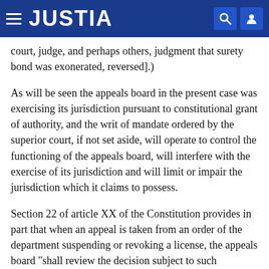JUSTIA
court, judge, and perhaps others, judgment that surety bond was exonerated, reversed].)
As will be seen the appeals board in the present case was exercising its jurisdiction pursuant to constitutional grant of authority, and the writ of mandate ordered by the superior court, if not set aside, will operate to control the functioning of the appeals board, will interfere with the exercise of its jurisdiction and will limit or impair the jurisdiction which it claims to possess.
Section 22 of article XX of the Constitution provides in part that when an appeal is taken from an order of the department suspending or revoking a license, the appeals board "shall review the decision subject to such limitations as may be imposed by the Legislature. ... Review by the board ... shall be limited to the questions whether the department has proceeded without or in